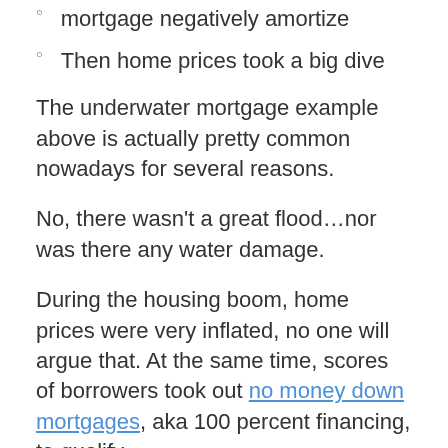mortgage negatively amortize
Then home prices took a big dive
The underwater mortgage example above is actually pretty common nowadays for several reasons.
No, there wasn't a great flood…nor was there any water damage.
During the housing boom, home prices were very inflated, no one will argue that. At the same time, scores of borrowers took out no money down mortgages, aka 100 percent financing, to qualify.
Essentially, because home prices were so high, new